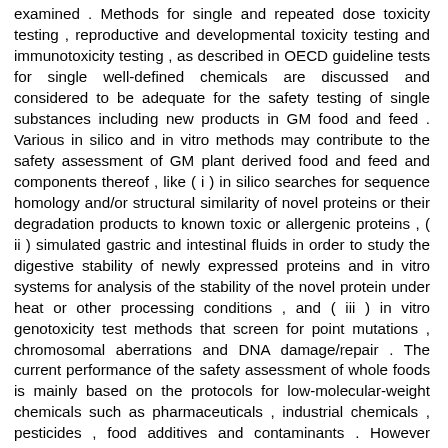examined . Methods for single and repeated dose toxicity testing , reproductive and developmental toxicity testing and immunotoxicity testing , as described in OECD guideline tests for single well-defined chemicals are discussed and considered to be adequate for the safety testing of single substances including new products in GM food and feed . Various in silico and in vitro methods may contribute to the safety assessment of GM plant derived food and feed and components thereof , like ( i ) in silico searches for sequence homology and/or structural similarity of novel proteins or their degradation products to known toxic or allergenic proteins , ( ii ) simulated gastric and intestinal fluids in order to study the digestive stability of newly expressed proteins and in vitro systems for analysis of the stability of the novel protein under heat or other processing conditions , and ( iii ) in vitro genotoxicity test methods that screen for point mutations , chromosomal aberrations and DNA damage/repair . The current performance of the safety assessment of whole foods is mainly based on the protocols for low-molecular-weight chemicals such as pharmaceuticals , industrial chemicals , pesticides , food additives and contaminants . However without adaptation , these protocols have limitations for testing of whole food and feed . This primarily results from the fact that defined single substances can be dosed to laboratory animals at very large multiples of the expected human exposure , thus giving a large margin of safety . In contrast foodstuffs are bulky , lead to satiation and can only be included in the diet at much lower multiples of expected human intakes . When testing whole foods , the possible highest concentration of the GM food and feed in the laboratory animal diet may be limited because of nutritional imbalance of the diet , or by the presence of compounds with a known toxicological profile . The aim of the 90-days rodent feeding study with the whole GM food and feed is to assess potential unintended effects of toxicological and/or nutritional relevance and to establish whether the GM food and feed has a toxicological/nutritional profile different from the conventional counterpart .